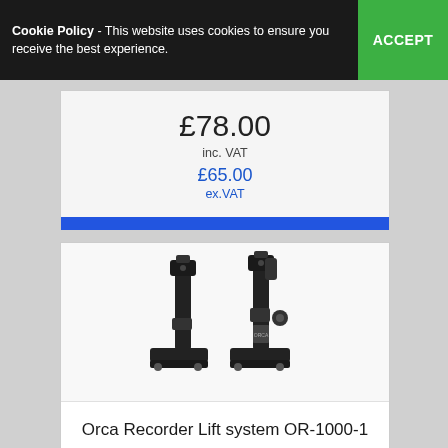Cookie Policy - This website uses cookies to ensure you receive the best experience. ACCEPT
£78.00
inc. VAT
£65.00
ex.VAT
VIEW DETAILS
[Figure (photo): Two black Orca Recorder Lift system OR-1000-1 bracket mounts shown side by side against a white background]
Orca Recorder Lift system OR-1000-1